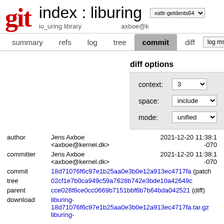git  index : liburing  io_uring library
summary  refs  log  tree  commit  diff  log msg
diff options
context: 3
space: include
mode: unified
| field | value | date |
| --- | --- | --- |
| author | Jens Axboe <axboe@kernel.dk> | 2021-12-20 11:38:1 -070 |
| committer | Jens Axboe <axboe@kernel.dk> | 2021-12-20 11:38:1 -070 |
| commit | 18d71076f6c97e1b25aa0e3b0e12a913ec4717fa (patch) |  |
| tree | 02cf1e7b0ca949c59a7628b742e3bde10a42649c |  |
| parent | cce028f8ce0cc0669b7151bbf6b7b64bda042521 (diff) |  |
| download | liburing-18d71076f6c97e1b25aa0e3b0e12a913ec4717fa.tar.gz liburing- |  |